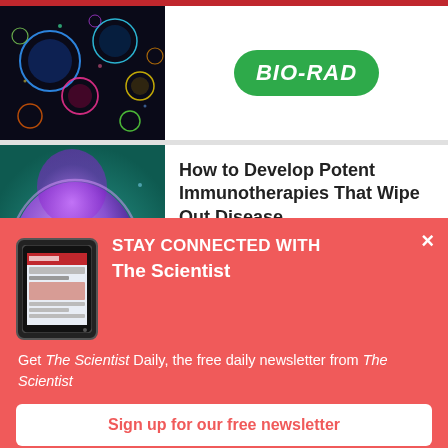[Figure (photo): Fluorescent colored bubbles/cells on dark background - Bio-Rad advertisement]
[Figure (logo): Bio-Rad green oval logo with white italic bold text BIO-RAD]
[Figure (photo): Purple/pink glowing cell or organism on teal background - Agilent advertisement]
How to Develop Potent Immunotherapies That Wipe Out Disease
[Figure (logo): Agilent logo with blue dot pattern and bold Agilent text]
[Figure (screenshot): Tablet device showing The Scientist Daily website]
STAY CONNECTED WITH The Scientist
Get The Scientist Daily, the free daily newsletter from The Scientist
Sign up for our free newsletter